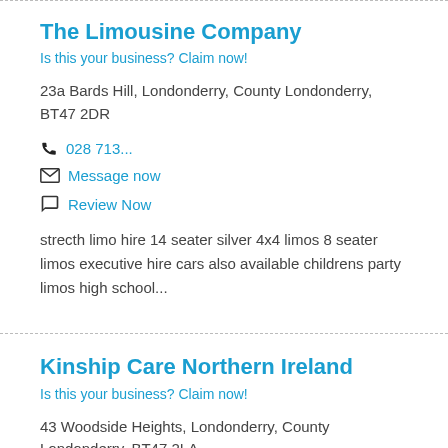The Limousine Company
Is this your business? Claim now!
23a Bards Hill, Londonderry, County Londonderry, BT47 2DR
028 713...
Message now
Review Now
strecth limo hire 14 seater silver 4x4 limos 8 seater limos executive hire cars also available childrens party limos high school...
Kinship Care Northern Ireland
Is this your business? Claim now!
43 Woodside Heights, Londonderry, County Londonderry, BT47 2LA